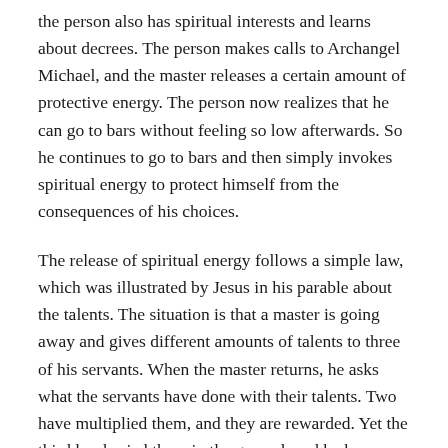the person also has spiritual interests and learns about decrees. The person makes calls to Archangel Michael, and the master releases a certain amount of protective energy. The person now realizes that he can go to bars without feeling so low afterwards. So he continues to go to bars and then simply invokes spiritual energy to protect himself from the consequences of his choices.
The release of spiritual energy follows a simple law, which was illustrated by Jesus in his parable about the talents. The situation is that a master is going away and gives different amounts of talents to three of his servants. When the master returns, he asks what the servants have done with their talents. Two have multiplied them, and they are rewarded. Yet the third has buried them in the ground, and he has something taken away from him.